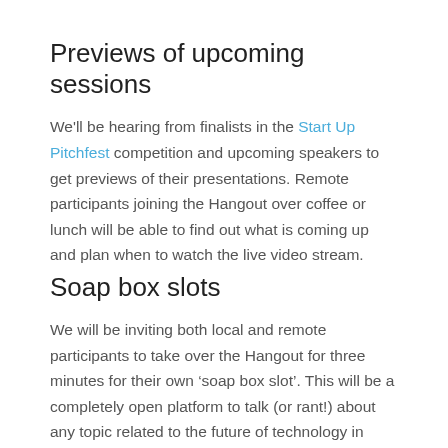Previews of upcoming sessions
We'll be hearing from finalists in the Start Up Pitchfest competition and upcoming speakers to get previews of their presentations. Remote participants joining the Hangout over coffee or lunch will be able to find out what is coming up and plan when to watch the live video stream.
Soap box slots
We will be inviting both local and remote participants to take over the Hangout for three minutes for their own ‘soap box slot’. This will be a completely open platform to talk (or rant!) about any topic related to the future of technology in education. Remote participants can share their views directly via their webcam, whilst local participants